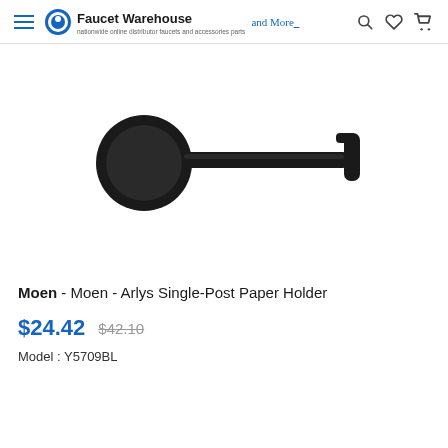Faucet Warehouse and More
[Figure (photo): Moen Arlys Single-Post Paper Holder in matte black finish, showing a round wall-mount base with a horizontal cylindrical bar extending to the right with a small end cap, on white background.]
Moen - Moen - Arlys Single-Post Paper Holder
$24.42  $42.10
Model : Y5709BL